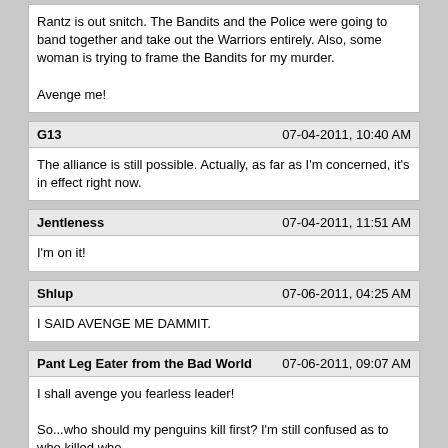Rantz is out snitch. The Bandits and the Police were going to band together and take out the Warriors entirely. Also, some woman is trying to frame the Bandits for my murder.

Avenge me!
G13 | 07-04-2011, 10:40 AM
The alliance is still possible. Actually, as far as I'm concerned, it's in effect right now.
Jentleness | 07-04-2011, 11:51 AM
I'm on it!
Shlup | 07-06-2011, 04:25 AM
I SAID AVENGE ME DAMMIT.
Pant Leg Eater from the Bad World | 07-06-2011, 09:07 AM
I shall avenge you fearless leader!

So...who should my penguins kill first? I'm still confused as to who killed who.
Shlup | 07-06-2011, 09:03 PM
I was assassinated by a female posing as a Bandit. So kill everything with a vagina.
Del Murder | 07-06-2011, 09:30 PM